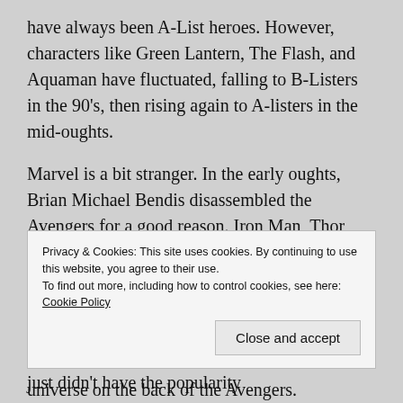have always been A-List heroes. However, characters like Green Lantern, The Flash, and Aquaman have fluctuated, falling to B-Listers in the 90's, then rising again to A-listers in the mid-oughts.
Marvel is a bit stranger. In the early oughts, Brian Michael Bendis disassembled the Avengers for a good reason. Iron Man, Thor, and Captain America struggled as B-Listers in the late 90's. Thor had been killed off, Iron Man was turned into an alcoholic and then a teengager and Captain American in general seemed directionless. The rest of the Avengers just didn't have the popularity
Privacy & Cookies: This site uses cookies. By continuing to use this website, you agree to their use.
To find out more, including how to control cookies, see here: Cookie Policy
Close and accept
universe on the back of the Avengers.